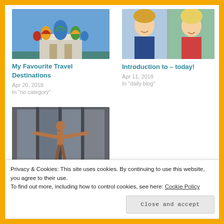[Figure (photo): Photo of Saint Basil's Cathedral in Moscow with colorful onion domes against a blue sky]
My Favourite Travel Destinations
Apr 20, 2018
In "no category"
[Figure (photo): Two photos side by side: a smiling blonde woman outdoors and another smiling blonde woman]
Introduction to – today!
Apr 11, 2018
In "daily blog"
[Figure (photo): A person with arms outstretched against a backdrop of a building with large windows]
Helsinki-Stockholm Cruise.
May 14, 2018
Privacy & Cookies: This site uses cookies. By continuing to use this website, you agree to their use.
To find out more, including how to control cookies, see here: Cookie Policy
Close and accept